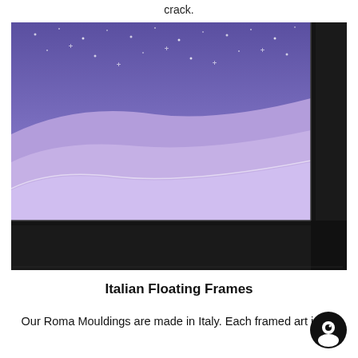crack.
[Figure (photo): Close-up photograph of a purple/lavender canvas print showing sand dunes under a starry night sky, fitted into a black floating frame. The corner of the black frame is prominently visible at the bottom right.]
Italian Floating Frames
Our Roma Mouldings are made in Italy. Each framed art is